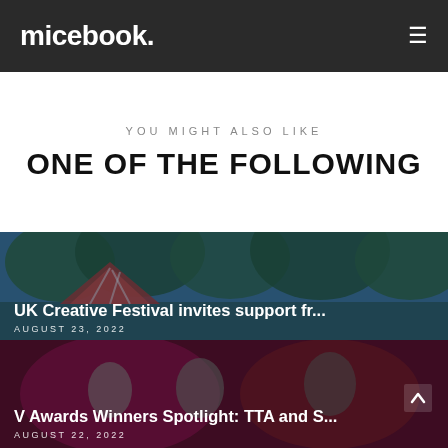micebook.
YOU MIGHT ALSO LIKE
ONE OF THE FOLLOWING
[Figure (photo): Outdoor festival scene with colourful tents and trees in background, people attending event]
UK Creative Festival invites support fr...
AUGUST 23, 2022
[Figure (photo): Awards ceremony scene with people in formal attire, pink/red lighting backdrop]
V Awards Winners Spotlight: TTA and S...
AUGUST 22, 2022